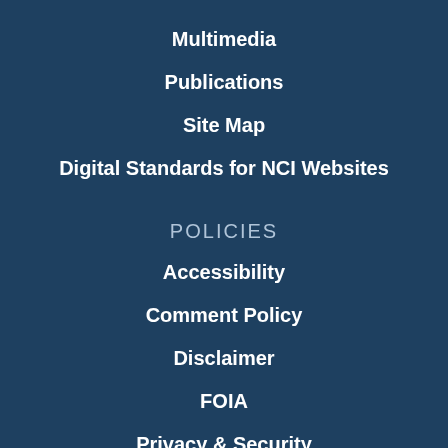Multimedia
Publications
Site Map
Digital Standards for NCI Websites
POLICIES
Accessibility
Comment Policy
Disclaimer
FOIA
Privacy & Security
Reuse & Copyright